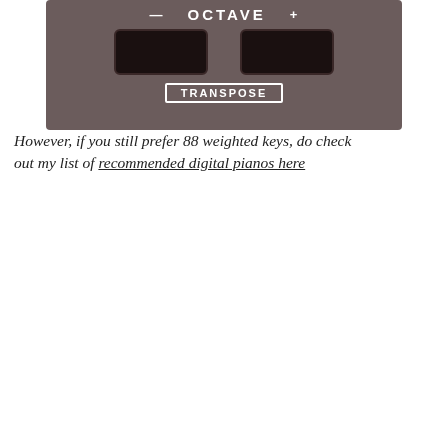[Figure (photo): Close-up photo of a keyboard control panel showing OCTAVE section with minus and plus buttons and two large black buttons, plus a TRANSPOSE button below.]
However, if you still prefer 88 weighted keys, do check out my list of recommended digital pianos here
[Figure (screenshot): YouTube video thumbnail screenshot showing '76-Key Yamaha' keyboard review video titled 'This $400+ 76-Keys Ya...' with a play button, channel avatar, and a keyboard image on an olive green background with text '76-KEY YAMAHA'.]